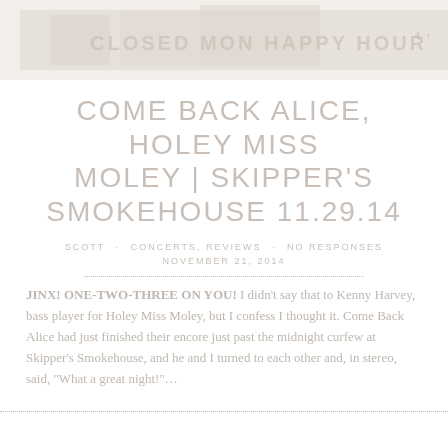[Figure (photo): Faded sepia-toned banner photo of a bar or venue with signage reading 'CLOSED MON HAPPY HOUR' visible]
COME BACK ALICE, HOLEY MISS MOLEY | SKIPPER'S SMOKEHOUSE 11.29.14
SCOTT · CONCERTS, REVIEWS · NO RESPONSES · NOVEMBER 21, 2014
JINX! ONE-TWO-THREE ON YOU! I didn't say that to Kenny Harvey, bass player for Holey Miss Moley, but I confess I thought it. Come Back Alice had just finished their encore just past the midnight curfew at Skipper's Smokehouse, and he and I turned to each other and, in stereo, said, "What a great night!"...